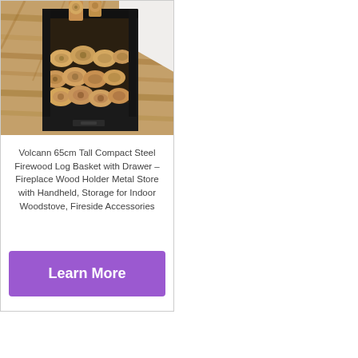[Figure (photo): A black steel firewood log basket with a drawer, filled with birch wood logs, sitting on a wood-effect laminate floor. White wall visible in background.]
Volcann 65cm Tall Compact Steel Firewood Log Basket with Drawer – Fireplace Wood Holder Metal Store with Handheld, Storage for Indoor Woodstove, Fireside Accessories
Learn More